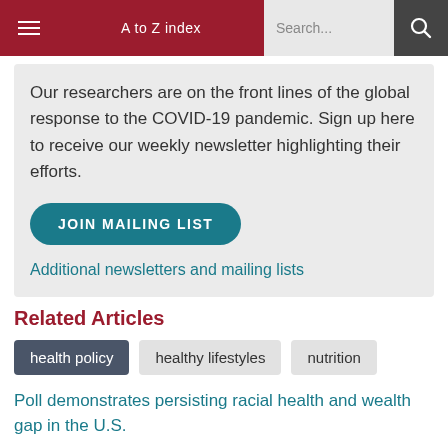A to Z index  Search...
Our researchers are on the front lines of the global response to the COVID-19 pandemic. Sign up here to receive our weekly newsletter highlighting their efforts.
JOIN MAILING LIST
Additional newsletters and mailing lists
Related Articles
health policy
healthy lifestyles
nutrition
Poll demonstrates persisting racial health and wealth gap in the U.S.
Preparing for the next pandemic